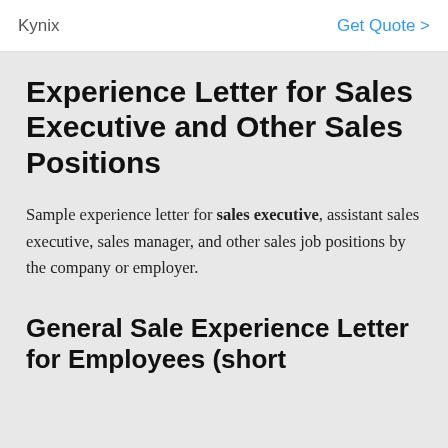Kynix   Get Quote >
Experience Letter for Sales Executive and Other Sales Positions
Sample experience letter for sales executive, assistant sales executive, sales manager, and other sales job positions by the company or employer.
General Sale Experience Letter for Employees (short